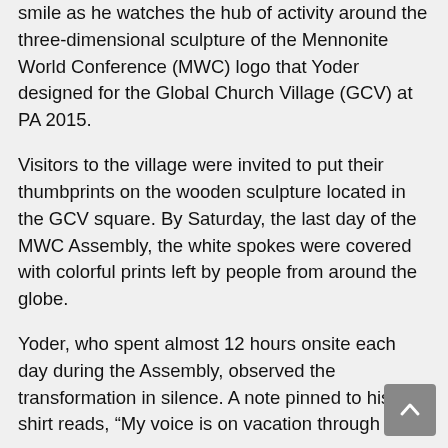smile as he watches the hub of activity around the three-dimensional sculpture of the Mennonite World Conference (MWC) logo that Yoder designed for the Global Church Village (GCV) at PA 2015.
Visitors to the village were invited to put their thumbprints on the wooden sculpture located in the GCV square. By Saturday, the last day of the MWC Assembly, the white spokes were covered with colorful prints left by people from around the globe.
Yoder, who spent almost 12 hours onsite each day during the Assembly, observed the transformation in silence. A note pinned to his shirt reads, “My voice is on vacation through July.”
Yoder is quiet by nature, says his wife, Dottie. But his silence during the MWC Assembly is not by choice. Yoder was recently diagnosed with polyps